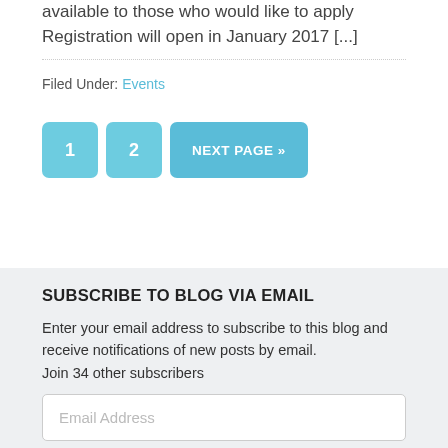available to those who would like to apply Registration will open in January 2017 [...]
Filed Under: Events
1  2  NEXT PAGE »
SUBSCRIBE TO BLOG VIA EMAIL
Enter your email address to subscribe to this blog and receive notifications of new posts by email. Join 34 other subscribers
Email Address